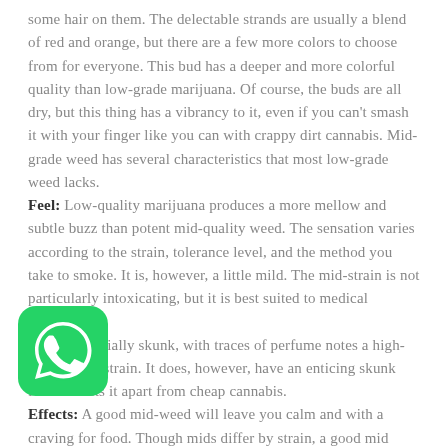some hair on them. The delectable strands are usually a blend of red and orange, but there are a few more colors to choose from for everyone. This bud has a deeper and more colorful quality than low-grade marijuana. Of course, the buds are all dry, but this thing has a vibrancy to it, even if you can't smash it with your finger like you can with crappy dirt cannabis. Mid-grade weed has several characteristics that most low-grade weed lacks.
Feel: Low-quality marijuana produces a more mellow and subtle buzz than potent mid-quality weed. The sensation varies according to the strain, tolerance level, and the method you take to smoke. It is, however, a little mild. The mid-strain is not particularly intoxicating, but it is best suited to medical purposes.
Aroma: Partially skunk, with traces of perfume notes a high-quality mid-strain. It does, however, have an enticing skunk feel that sets it apart from cheap cannabis.
Effects: A good mid-weed will leave you calm and with a craving for food. Though mids differ by strain, a good mid
[Figure (logo): WhatsApp logo icon - green rounded square with white phone/chat bubble]